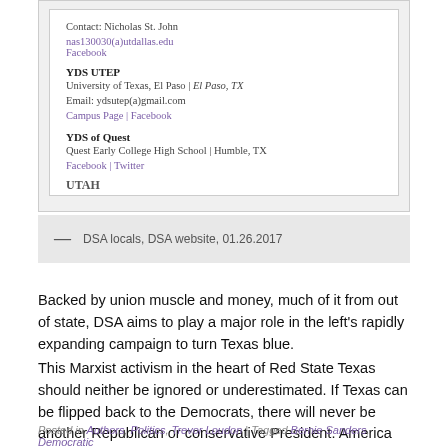[Figure (screenshot): Screenshot of a DSA website listing showing YDS UTEP and YDS of Quest entries with contact information and links, plus a partially visible UTAH section label.]
— DSA locals, DSA website, 01.26.2017
Backed by union muscle and money, much of it from out of state, DSA aims to play a major role in the left's rapidly expanding campaign to turn Texas blue.
This Marxist activism in the heart of Red State Texas should neither be ignored or underestimated. If Texas can be flipped back to the Democrats, there will never be another Republican or conservative President. America as we know it will be over.
Posted in Authors, Politics, Trevor Loudon | Tagged Bernie Sanders, Democratic